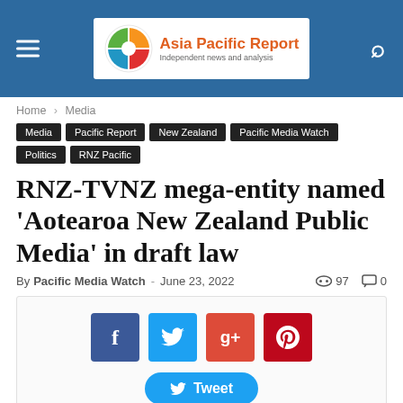Asia Pacific Report — Independent news and analysis
Home > Media
Media | Pacific Report | New Zealand | Pacific Media Watch | Politics | RNZ Pacific
RNZ-TVNZ mega-entity named 'Aotearoa New Zealand Public Media' in draft law
By Pacific Media Watch - June 23, 2022 | 97 views | 0 comments
[Figure (other): Social share buttons: Facebook, Twitter, Google+, Pinterest, and a Tweet button]